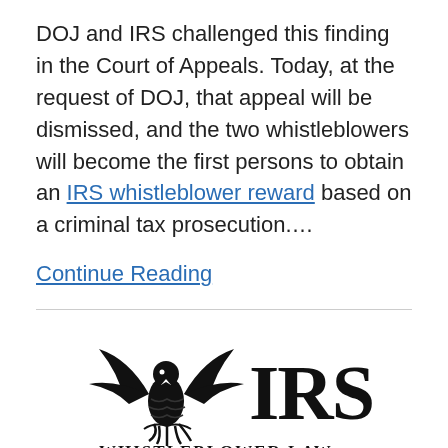DOJ and IRS challenged this finding in the Court of Appeals. Today, at the request of DOJ, that appeal will be dismissed, and the two whistleblowers will become the first persons to obtain an IRS whistleblower reward based on a criminal tax prosecution.…
Continue Reading
[Figure (logo): IRS Whistleblower Law logo — eagle emblem on the left with 'IRS' in large serif text and 'WHISTLEBLOWER LAW' in bold serif text beneath]
DOJ's Decision to Appeal Two Whistleblower Cases Will